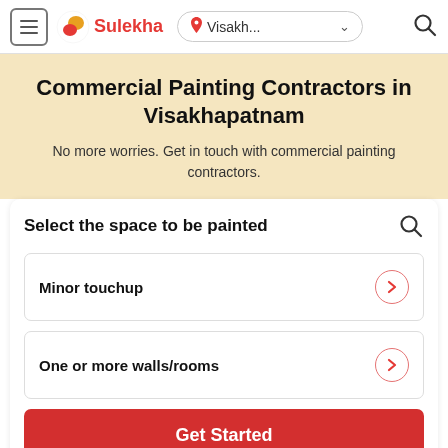Sulekha | Visakh... (navigation bar with hamburger menu, logo, location selector, and search icon)
Commercial Painting Contractors in Visakhapatnam
No more worries. Get in touch with commercial painting contractors.
Select the space to be painted
Minor touchup
One or more walls/rooms
Get Started